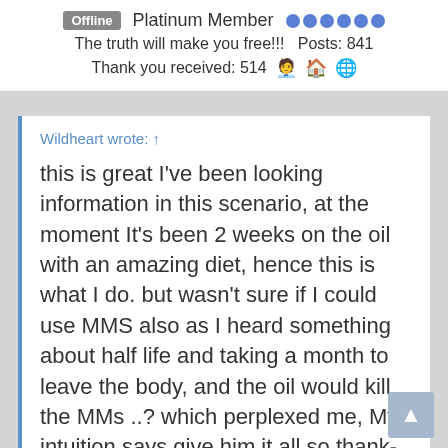Offline  Platinum Member  ●●●●●●  The truth will make you free!!!  Posts: 841  Thank you received: 514
Wildheart wrote: ↑

this is great I've been looking information in this scenario, at the moment It's been 2 weeks on the oil with an amazing diet, hence this is what I do. but wasn't sure if I could use MMS also as I heard something about half life and taking a month to leave the body, and the oil would kill the MMs ..? which perplexed me, My intuition says give him it all so thank-you to you